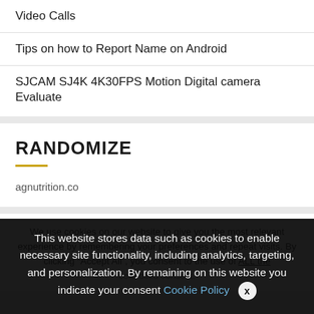Video Calls
Tips on how to Report Name on Android
SJCAM SJ4K 4K30FPS Motion Digital camera Evaluate
RANDOMIZE
agnutrition.co
We use cookies on our website to give you the most relevant experience by remembering your preferences and repeat visits. By clicking “Accept All”, you consent to the use of ALL the controlled consent.
This website stores data such as cookies to enable necessary site functionality, including analytics, targeting, and personalization. By remaining on this website you indicate your consent Cookie Policy